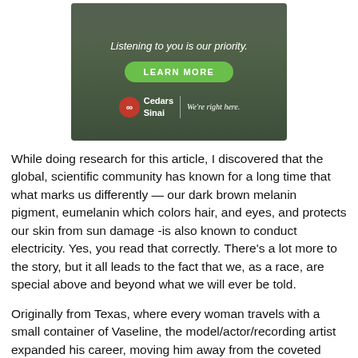[Figure (advertisement): Cedars-Sinai advertisement with text 'Listening to you is our priority.', a green 'LEARN MORE' button, and Cedars Sinai logo with tagline 'We're right here.']
While doing research for this article, I discovered that the global, scientific community has known for a long time that what marks us differently — our dark brown melanin pigment, eumelanin which colors hair, and eyes, and protects our skin from sun damage -is also known to conduct electricity. Yes, you read that correctly. There's a lot more to the story, but it all leads to the fact that we, as a race, are special above and beyond what we will ever be told.
Originally from Texas, where every woman travels with a small container of Vaseline, the model/actor/recording artist expanded his career, moving him away from the coveted pages of Vogue, walking the catwalk and hosting